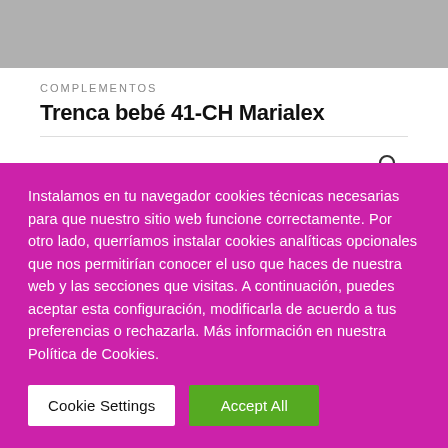[Figure (photo): Product image partially visible at top, grey/neutral background]
COMPLEMENTOS
Trenca bebé 41-CH Marialex
35,96€
Instalamos en tu navegador cookies técnicas necesarias para que nuestro sitio web funcione correctamente. Por otro lado, querríamos instalar cookies analíticas opcionales que nos permitirían conocer el uso que haces de nuestra web y las secciones que visitas. A continuación, puedes aceptar esta configuración, modificarla de acuerdo a tus preferencias o rechazarla. Más información en nuestra Política de Cookies.
Cookie Settings | Accept All